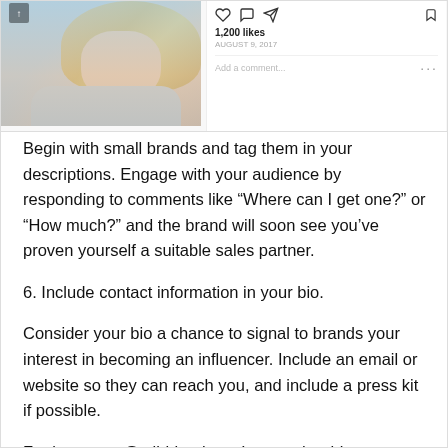[Figure (screenshot): Instagram post screenshot showing a woman with blonde hair in a light blue shirt. The sidebar shows 1,200 likes, a date (AUGUST 9, 2017), and an 'Add a comment...' field with action icons.]
Begin with small brands and tag them in your descriptions. Engage with your audience by responding to comments like “Where can I get one?” or “How much?” and the brand will soon see you’ve proven yourself a suitable sales partner.
6. Include contact information in your bio.
Consider your bio a chance to signal to brands your interest in becoming an influencer. Include an email or website so they can reach you, and include a press kit if possible.
For instance, @tzibirita doesn’t waste her bio space. She includes her email and website, and even adds a title